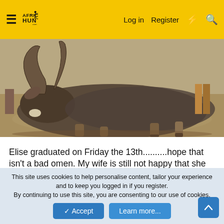Africa Hunting .com — Log in | Register
[Figure (photo): A large antelope or buffalo-like animal lying on dry ground, with large curved horns, photographed from above. Parts of people's legs visible in background.]
Elise graduated on Friday the 13th..........hope that isn't a bad omen. My wife is still not happy that she had to endure the 3 hour graduation ceremony without me. Sunday the 15th, Elise flew United from Houston to Lagos, a 12 hour non-stop flight on the 787 Dreamliner.
This site uses cookies to help personalise content, tailor your experience and to keep you logged in if you register.
By continuing to use this site, you are consenting to our use of cookies.